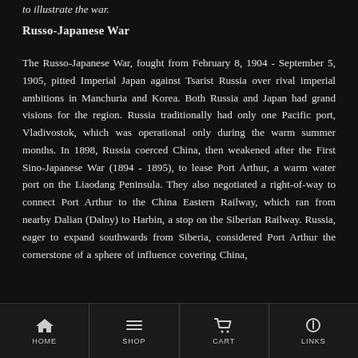to illustrate the war.
Russo-Japanese War
The Russo-Japanese War, fought from February 8, 1904 - September 5, 1905, pitted Imperial Japan against Tsarist Russia over rival imperial ambitions in Manchuria and Korea. Both Russia and Japan had grand visions for the region. Russia traditionally had only one Pacific port, Vladivostok, which was operational only during the warm summer months. In 1898, Russia coerced China, then weakened after the First Sino-Japanese War (1894 - 1895), to lease Port Arthur, a warm water port on the Liaodang Peninsula. They also negotiated a right-of-way to connect Port Arthur to the China Eastern Railway, which ran from nearby Dalian (Dalny) to Harbin, a stop on the Siberian Railway. Russia, eager to expand southwards from Siberia, considered Port Arthur the cornerstone of a sphere of influence covering China,
HOME  SHOP  CART  LINKS